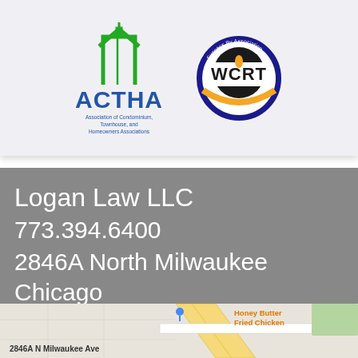[Figure (logo): ACTHA (Association of Condominium, Townhouse, and Homeowners Associations) logo with green building icon and blue text, alongside WCRT (Success By Association) circular logo with orange and blue design]
Logan Law LLC
773.394.6400
2846A North Milwaukee
Chicago
, IL 60618
[Figure (map): Street map showing 2846A N Milwaukee Ave in Chicago with nearby Honey Butter Fried Chicken label visible]